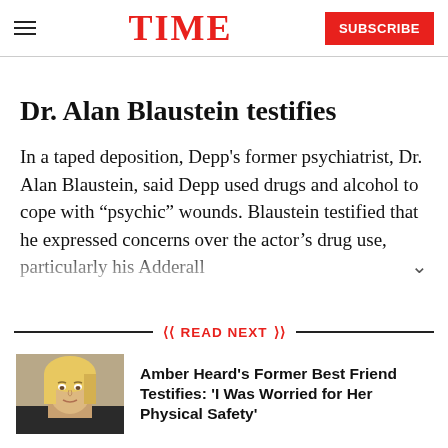TIME | SUBSCRIBE
Dr. Alan Blaustein testifies
In a taped deposition, Depp’s former psychiatrist, Dr. Alan Blaustein, said Depp used drugs and alcohol to cope with “psychic” wounds. Blaustein testified that he expressed concerns over the actor’s drug use, particularly his Adderall
READ NEXT
[Figure (photo): Photo of a blonde woman, likely Amber Heard, smiling slightly in a courtroom setting]
Amber Heard's Former Best Friend Testifies: 'I Was Worried for Her Physical Safety'